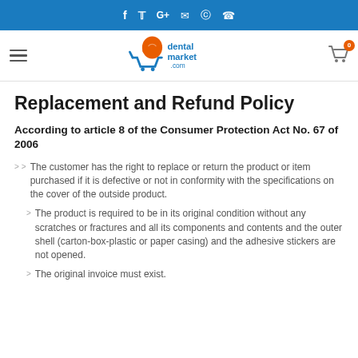f  ✦  G+  ✉  ⊕  ◎
[Figure (logo): dental market .com logo with orange tooth icon and blue shopping cart]
Replacement and Refund Policy
According to article 8 of the Consumer Protection Act No. 67 of 2006
The customer has the right to replace or return the product or item purchased if it is defective or not in conformity with the specifications on the cover of the outside product.
The product is required to be in its original condition without any scratches or fractures and all its components and contents and the outer shell (carton-box-plastic or paper casing) and the adhesive stickers are not opened.
The original invoice must exist.